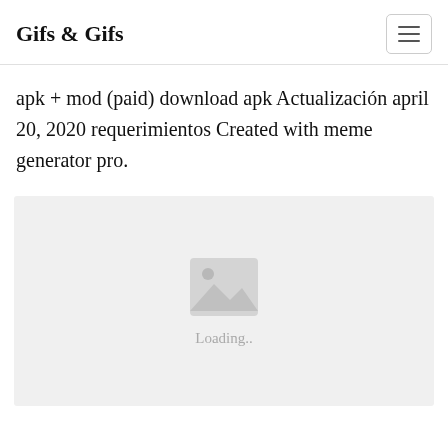Gifs & Gifs
apk + mod (paid) download apk Actualización april 20, 2020 requerimientos Created with meme generator pro.
[Figure (illustration): Image placeholder with a mountain/photo icon and 'Loading..' text below it, on a light grey background.]